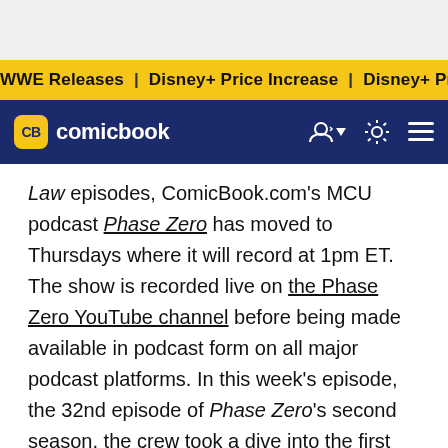WWE Releases | Disney+ Price Increase | Disney+ Price Incre
CB comicbook
Law episodes, ComicBook.com's MCU podcast Phase Zero has moved to Thursdays where it will record at 1pm ET. The show is recorded live on the Phase Zero YouTube channel before being made available in podcast form on all major podcast platforms. In this week's episode, the 32nd episode of Phase Zero's second season, the crew took a dive into the first episode of She-Hulk and some big Marvel news and rumors which dropped over the course of the past week. It was one of the funnier, more giggly episodes of Phase Zero, that's for sure.
The Marvel Cinematic Universe saw She-Hulk and its cast